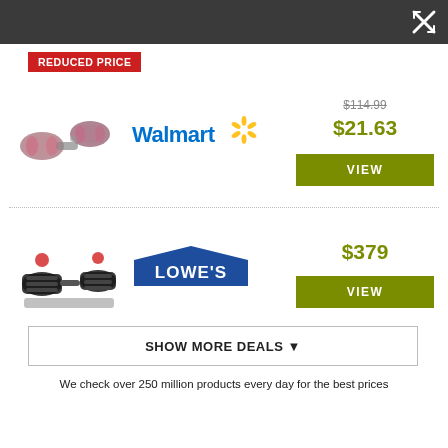REDUCED PRICE
[Figure (photo): Pink hand dumbbell weights]
[Figure (logo): Walmart logo with spark symbol]
$114.99 (strikethrough)
$21.63
VIEW
[Figure (photo): Black adjustable dumbbell weights]
[Figure (logo): Lowe's logo]
$379
VIEW
SHOW MORE DEALS ▼
We check over 250 million products every day for the best prices